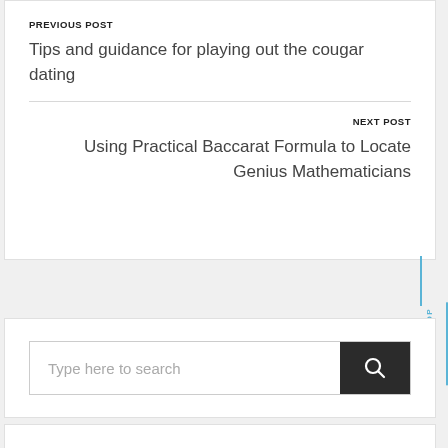PREVIOUS POST
Tips and guidance for playing out the cougar dating
NEXT POST
Using Practical Baccarat Formula to Locate Genius Mathematicians
Type here to search
BACK TO TOP